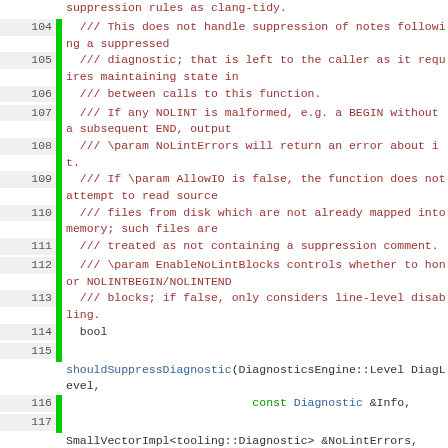Source code listing lines 104-121, showing C++ comments documenting shouldSuppressDiagnostic function parameters and its declaration with parameters DiagLevel, Info, NoLintErrors, AllowIO, EnableNoLintBlocks.